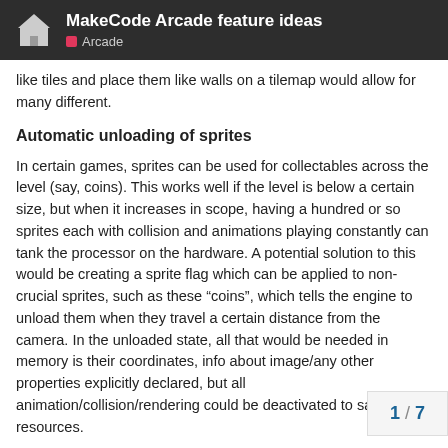MakeCode Arcade feature ideas — Arcade
like tiles and place them like walls on a tilemap would allow for many different.
Automatic unloading of sprites
In certain games, sprites can be used for collectables across the level (say, coins). This works well if the level is below a certain size, but when it increases in scope, having a hundred or so sprites each with collision and animations playing constantly can tank the processor on the hardware. A potential solution to this would be creating a sprite flag which can be applied to non-crucial sprites, such as these “coins”, which tells the engine to unload them when they travel a certain distance from the camera. In the unloaded state, all that would be needed in memory is their coordinates, info about image/any other properties explicitly declared, but all animation/collision/rendering could be deactivated to save resources.
Custom game resolution (good additio…